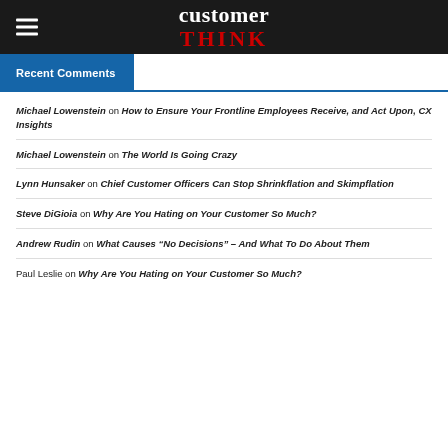customer THINK
Recent Comments
Michael Lowenstein on How to Ensure Your Frontline Employees Receive, and Act Upon, CX Insights
Michael Lowenstein on The World Is Going Crazy
Lynn Hunsaker on Chief Customer Officers Can Stop Shrinkflation and Skimpflation
Steve DiGioia on Why Are You Hating on Your Customer So Much?
Andrew Rudin on What Causes “No Decisions” – And What To Do About Them
Paul Leslie on Why Are You Hating on Your Customer So Much?